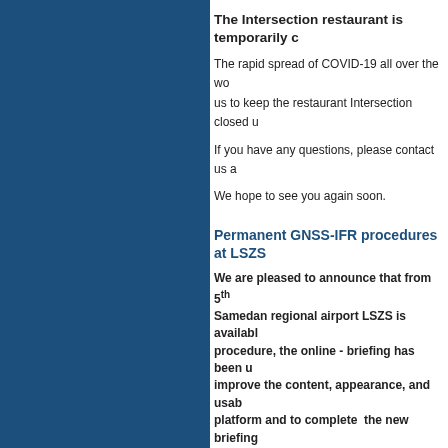The Intersection restaurant is temporarily c
The rapid spread of COVID-19 all over the wo us to keep the restaurant Intersection closed u
If you have any questions, please contact us a
We hope to see you again soon.
Permanent GNSS-IFR procedures at LSZS
We are pleased to announce that from 5th Samedan regional airport LSZS is availabl procedure, the online - briefing has been u improve the content, appearance, and usa platform and to complete the new briefing http://www.engadin-airport.ch/Briefings.41
Federal Council adopts SAIP - object sheet
Bern / FOCA, 13.09.2019 - On its meeting on object sheet of the Sectoral Aviation Infrastruc